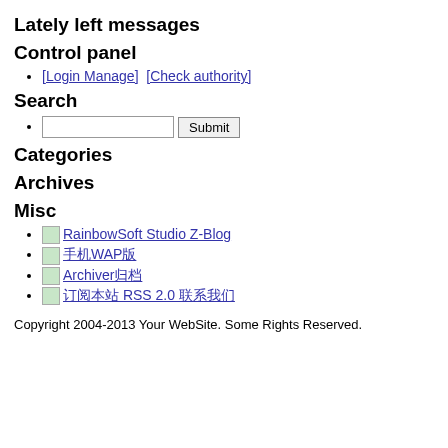Lately left messages
Control panel
[Login Manage]  [Check authority]
Search
[text input] Submit
Categories
Archives
Misc
RainbowSoft Studio Z-Blog
手机WAP版
Archiver归档
订阅本站 RSS 2.0 联系我们
Copyright 2004-2013 Your WebSite. Some Rights Reserved.